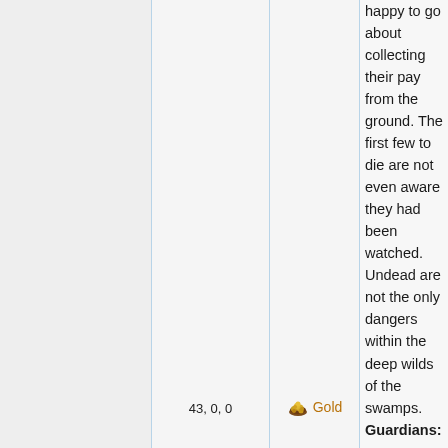happy to go about collecting their pay from the ground. The first few to die are not even aware they had been watched. Undead are not the only dangers within the deep wilds of the swamps.
43, 0, 0
Gold
Guardians: